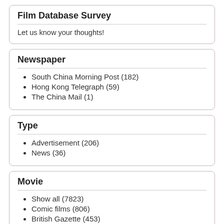Film Database Survey
Let us know your thoughts!
Newspaper
South China Morning Post (182)
Hong Kong Telegraph (59)
The China Mail (1)
Type
Advertisement (206)
News (36)
Movie
Show all (7823)
Comic films (806)
British Gazette (453)
Pathe Gazette (346)